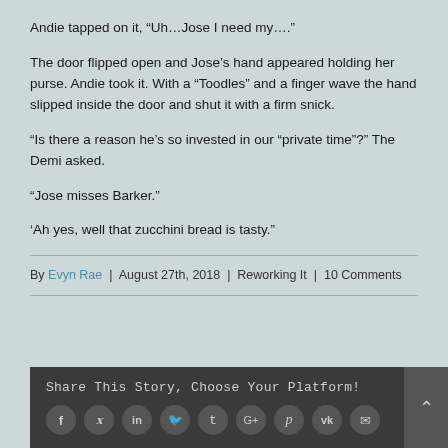Andie tapped on it, “Uh…Jose I need my….”
The door flipped open and Jose’s hand appeared holding her purse. Andie took it. With a “Toodles” and a finger wave the hand slipped inside the door and shut it with a firm snick.
“Is there a reason he’s so invested in our “private time”?” The Demi asked.
“Jose misses Barker.”
‘Ah yes, well that zucchini bread is tasty.”
By Evyn Rae | August 27th, 2018 | Reworking It | 10 Comments
Share This Story, Choose Your Platform!